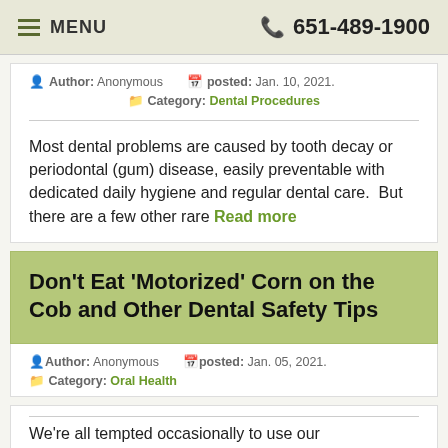MENU  651-489-1900
Author: Anonymous   posted: Jan. 10, 2021.   Category: Dental Procedures
Most dental problems are caused by tooth decay or periodontal (gum) disease, easily preventable with dedicated daily hygiene and regular dental care.  But there are a few other rare Read more
Don't Eat 'Motorized' Corn on the Cob and Other Dental Safety Tips
Author: Anonymous   posted: Jan. 05, 2021.   Category: Oral Health
We're all tempted occasionally to use our